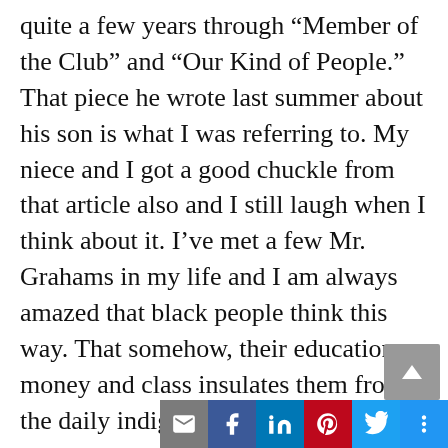quite a few years through “Member of the Club” and “Our Kind of People.” That piece he wrote last summer about his son is what I was referring to. My niece and I got a good chuckle from that article also and I still laugh when I think about it. I’ve met a few Mr. Grahams in my life and I am always amazed that black people think this way. That somehow, their education, money and class insulates them from the daily indignities of being black in America and separates them from everyday black people. His son is just as black with perfect diction, preppy clothes and the “air of quiet graciousness” as perhaps Jamal